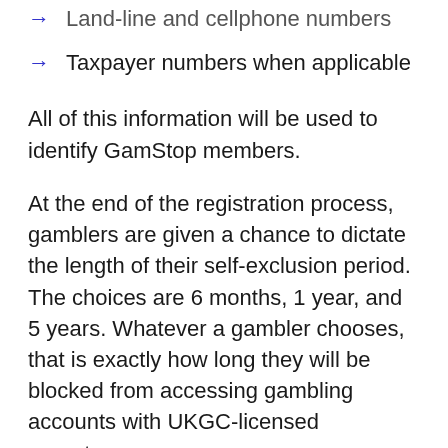Land-line and cellphone numbers
Taxpayer numbers when applicable
All of this information will be used to identify GamStop members.
At the end of the registration process, gamblers are given a chance to dictate the length of their self-exclusion period. The choices are 6 months, 1 year, and 5 years. Whatever a gambler chooses, that is exactly how long they will be blocked from accessing gambling accounts with UKGC-licensed operators.
When the self-exclusion period ends, registered